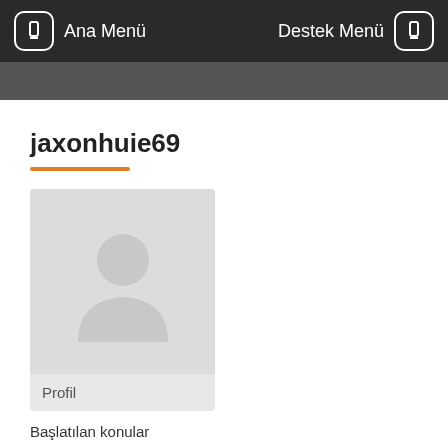Ana Menü   Destek Menü
jaxonhuie69
[Figure (illustration): Default user avatar placeholder — grey silhouette of a person on light grey background]
Profil
Başlatılan konular
Oluşturulan yanıtlar